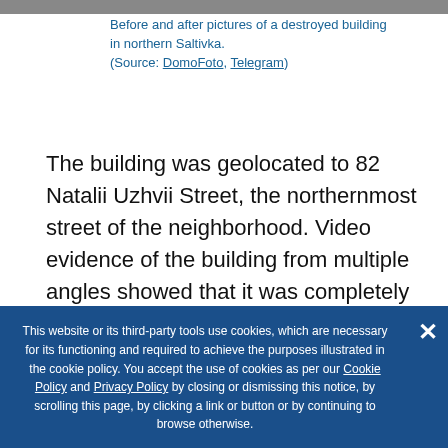[Figure (photo): Photo strip at top of page showing before and after images of a destroyed building in northern Saltivka]
Before and after pictures of a destroyed building in northern Saltivka.
(Source: DomoFoto, Telegram)
The building was geolocated to 82 Natalii Uzhvii Street, the northernmost street of the neighborhood. Video evidence of the building from multiple angles showed that it was completely destroyed. Apartments that hadn't entirely collapsed had been completely burnt on the inside.
This website or its third-party tools use cookies, which are necessary for its functioning and required to achieve the purposes illustrated in the cookie policy. You accept the use of cookies as per our Cookie Policy and Privacy Policy by closing or dismissing this notice, by scrolling this page, by clicking a link or button or by continuing to browse otherwise.